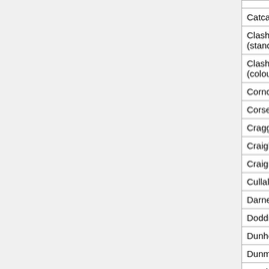|  |  |  |  |
| --- | --- | --- | --- |
| Catcastle | 2240 |  |  |
| Clashach (standard) | 2346 | 9.0 | 9.2 |
| Clashach (coloured) | 2007 | 1.9 | 22.5 |
| Corncockle | 2130 | 0.8 | 18.8 |
| Corsehill | 1990 | 1.9 | 22.0 |
| Cragg | 2170 | 1.4 | 16.7 |
| Craigleith | 2220 |  | 13.5 |
| Craigmillar | 2350 | 3.2 | 9.2 |
| Cullalo | 2160 | 2.6 | 18.4 |
| Darney | 2180 | 2.0 | 17.6 |
| Doddington | 2060 | 1.7 | 20.2 |
| Dunhouse | 2165 |  | 18.4 |
| Dunmore (new) |  |  | 17.3 |
| Catelswhridge | 2027 | 1.7 | 22.6 |